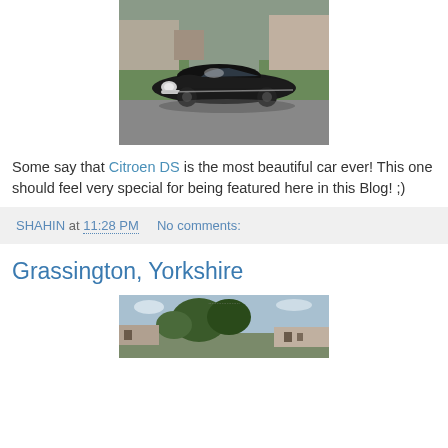[Figure (photo): A black Citroen DS car photographed on a road, seen from a front-left angle, with green grass and buildings in the background.]
Some say that Citroen DS is the most beautiful car ever! This one should feel very special for being featured here in this Blog! ;)
SHAHIN at 11:28 PM   No comments:
Grassington, Yorkshire
[Figure (photo): A scenic view of Grassington, Yorkshire, showing trees, stone buildings and countryside.]